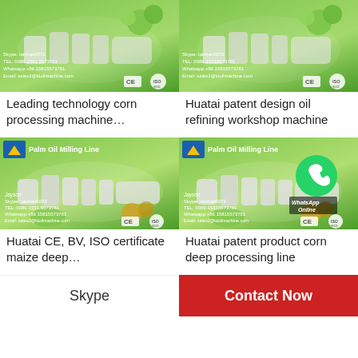[Figure (photo): Product advertisement image for corn processing machine with green background, showing machinery, contact info: Skype taishan0072, TEL:0086-1591 5573781, Whatsapp:+86 15815573781, Email:sales2@ldoilmachine.com, CE and ISO badges]
[Figure (photo): Product advertisement image for oil refining workshop machine with green background, showing machinery, contact info: Skype taishan0072, TEL:0086-15315573781, Whatsapp:+86 15815573781, Email:sales2@ldoilmachine.com, CE and ISO badges]
Leading technology corn processing machine…
Huatai patent design oil refining workshop machine
[Figure (photo): Palm Oil Milling Line advertisement with green background, Jayson contact info, Skype taishan0072, TEL:0086-1531 5573781, Whatsapp:+86 15815573781, Email:sales2@ldoilmachine.com, CE and ISO badges]
[Figure (photo): Palm Oil Milling Line advertisement with green background and WhatsApp Online icon overlay, Jayson contact info, Skype taishan0072, TEL:0086-15315573781, Whatsapp:+86 15815573781, Email:sales2@ldoilmachine.com, CE and ISO badges]
Huatai CE, BV, ISO certificate maize deep…
Huatai patent product corn deep processing line
Skype
Contact Now